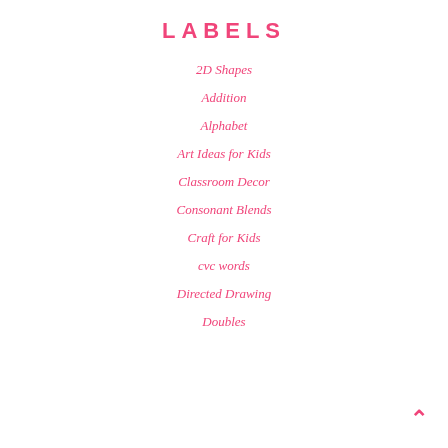LABELS
2D Shapes
Addition
Alphabet
Art Ideas for Kids
Classroom Decor
Consonant Blends
Craft for Kids
cvc words
Directed Drawing
Doubles